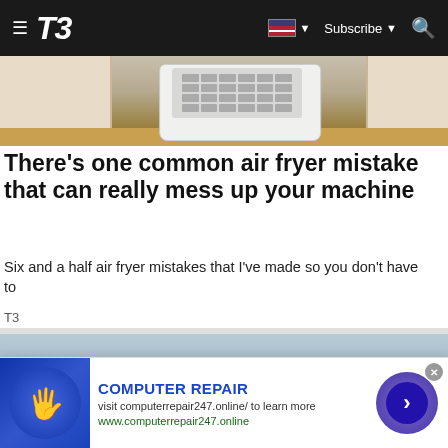T3
[Figure (photo): Kitchen appliance (air fryer or dishwasher) on a countertop, with wooden cabinets on the sides]
There's one common air fryer mistake that can really mess up your machine
Six and a half air fryer mistakes that I've made so you don't have to
T3
[Figure (photo): Aerial view of a large car lot with hundreds of vehicles packed closely together, with a building and trees in the background]
[Figure (infographic): Advertisement banner for 'Computer Repair' service. Shows a thumb touching a glowing screen. Text reads: COMPUTER REPAIR, visit computerrepair247.online/ to learn more, www.computerrepair247.online]